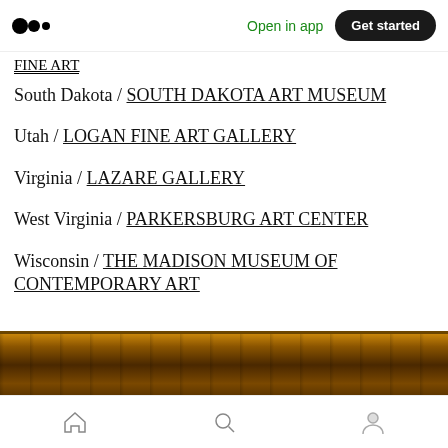Medium app header with logo, Open in app, Get started
FINE ART
South Dakota / SOUTH DAKOTA ART MUSEUM
Utah / LOGAN FINE ART GALLERY
Virginia / LAZARE GALLERY
West Virginia / PARKERSBURG ART CENTER
Wisconsin / THE MADISON MUSEUM OF CONTEMPORARY ART
[Figure (photo): Partial view of an ornate golden picture frame against a dark background]
Bottom navigation bar with home, search, and profile icons